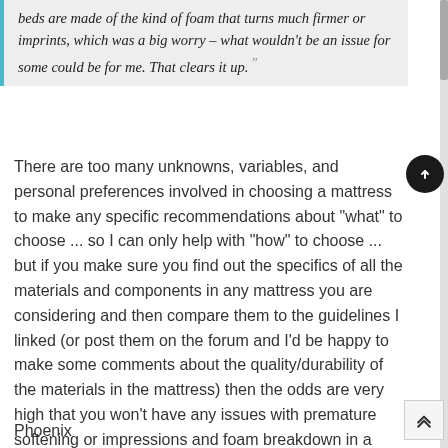beds are made of the kind of foam that turns much firmer or imprints, which was a big worry – what wouldn't be an issue for some could be for me. That clears it up.
There are too many unknowns, variables, and personal preferences involved in choosing a mattress to make any specific recommendations about "what" to choose ... so I can only help with "how" to choose ... but if you make sure you find out the specifics of all the materials and components in any mattress you are considering and then compare them to the guidelines I linked (or post them on the forum and I'd be happy to make some comments about the quality/durability of the materials in the mattress) then the odds are very high that you won't have any issues with premature softening or impressions and foam breakdown in a mattress.
Phoenix